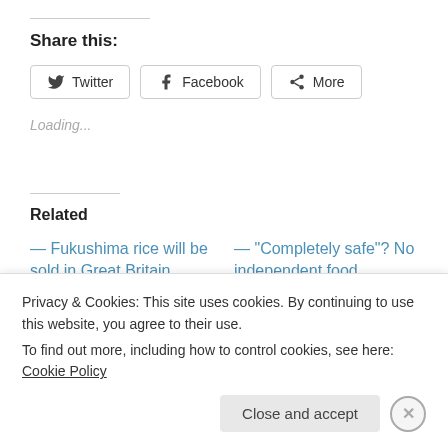Share this:
Twitter  Facebook  More
Loading...
Related
— Fukushima rice will be sold in Great Britain
June 20, 2016
— “Completely safe”? No independent food inspection for domestic consumption as Japan overflows with coming
Privacy & Cookies: This site uses cookies. By continuing to use this website, you agree to their use.
To find out more, including how to control cookies, see here: Cookie Policy
Close and accept